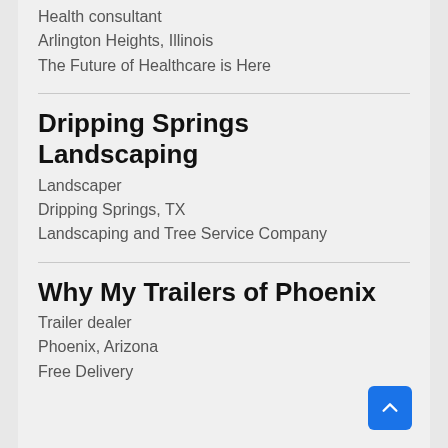Health consultant
Arlington Heights, Illinois
The Future of Healthcare is Here
Dripping Springs Landscaping
Landscaper
Dripping Springs, TX
Landscaping and Tree Service Company
Why My Trailers of Phoenix
Trailer dealer
Phoenix, Arizona
Free Delivery